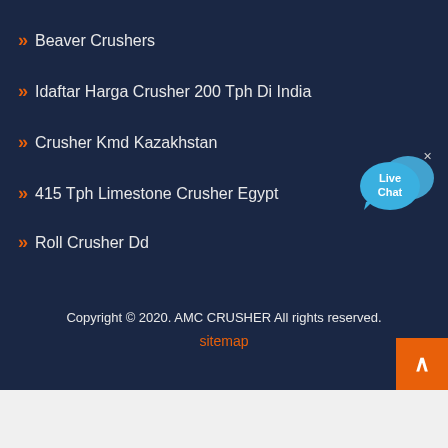Beaver Crushers
Idaftar Harga Crusher 200 Tph Di India
Crusher Kmd Kazakhstan
415 Tph Limestone Crusher Egypt
Roll Crusher Dd
Copyright © 2020. AMC CRUSHER All rights reserved.
sitemap